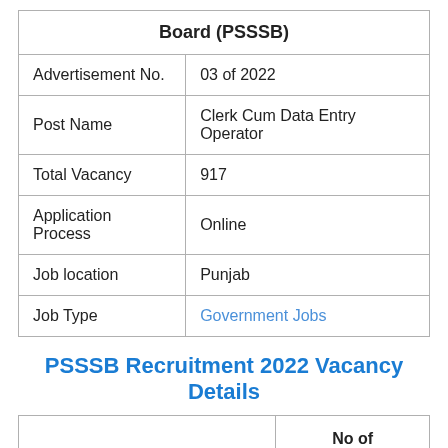| Board (PSSSB) |  |
| --- | --- |
| Advertisement No. | 03 of 2022 |
| Post Name | Clerk Cum Data Entry Operator |
| Total Vacancy | 917 |
| Application Process | Online |
| Job location | Punjab |
| Job Type | Government Jobs |
PSSSB Recruitment 2022 Vacancy Details
| Post Name | No of Vacancy |
| --- | --- |